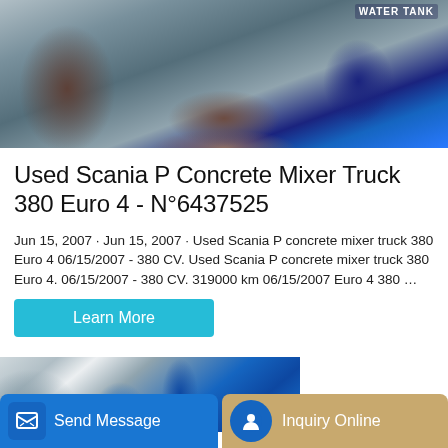[Figure (photo): Photo of construction vehicles including a Scania concrete mixer truck and blue wheeled loader on a dirt site, with 'WATER TANK' text visible on a blue vehicle in the background.]
Used Scania P Concrete Mixer Truck 380 Euro 4 - N°6437525
Jun 15, 2007 · Jun 15, 2007 · Used Scania P concrete mixer truck 380 Euro 4 06/15/2007 - 380 CV. Used Scania P concrete mixer truck 380 Euro 4. 06/15/2007 - 380 CV. 319000 km 06/15/2007 Euro 4 380 …
[Figure (photo): Partial photo of blue concrete mixer trucks near a building, partially overlaid by the bottom navigation bar.]
Send Message
Inquiry Online